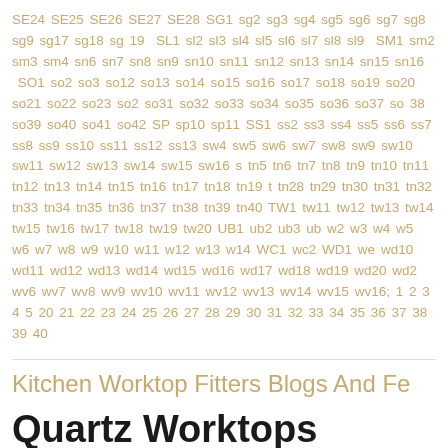SE24 SE25 SE26 SE27 SE28 SG1 sg2 sg3 sg4 sg5 sg6 sg7 sg8 sg9 sg17 sg18 sg 19 SL1 sl2 sl3 sl4 sl5 sl6 sl7 sl8 sl9 SM1 sm2 sm3 sm4 sn6 sn7 sn8 sn9 sn10 sn11 sn12 sn13 sn14 sn15 sn16 SO1 so2 so3 so12 so13 so14 so15 so16 so17 so18 so19 so20 so21 so22 so23 so2 so31 so32 so33 so34 so35 so36 so37 so 38 so39 so40 so41 so42 SP sp10 sp11 SS1 ss2 ss3 ss4 ss5 ss6 ss7 ss8 ss9 ss10 ss11 ss12 ss13 sw4 sw5 sw6 sw7 sw8 sw9 sw10 sw11 sw12 sw13 sw14 sw15 sw16 s tn5 tn6 tn7 tn8 tn9 tn10 tn11 tn12 tn13 tn14 tn15 tn16 tn17 tn18 tn19 t tn28 tn29 tn30 tn31 tn32 tn33 tn34 tn35 tn36 tn37 tn38 tn39 tn40 TW1 tw11 tw12 tw13 tw14 tw15 tw16 tw17 tw18 tw19 tw20 UB1 ub2 ub3 ub w2 w3 w4 w5 w6 w7 w8 w9 w10 w11 w12 w13 w14 WC1 wc2 WD1 we wd10 wd11 wd12 wd13 wd14 wd15 wd16 wd17 wd18 wd19 wd20 wd2 wv6 wv7 wv8 wv9 wv10 wv11 wv12 wv13 wv14 wv15 wv16; 1 2 3 4 5 20 21 22 23 24 25 26 27 28 29 30 31 32 33 34 35 36 37 38 39 40
Kitchen Worktop Fitters Blogs And Fe
Quartz Worktops
December 29, 2013
Kitchen Worktop Fitters now install Quartz worktops